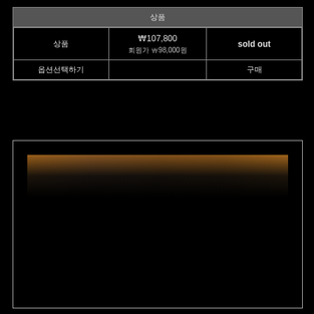| 상품 | 가격 |  |
| --- | --- | --- |
| 상품 | ₩107,800
회원가 ₩98,000원 | sold out |
| 옵션선택하기 |  | 구매 |
[Figure (photo): Dark image with a narrow strip of warm amber/orange illuminated scene at the top, rest is black. Appears to be a dark interior or nighttime photograph.]